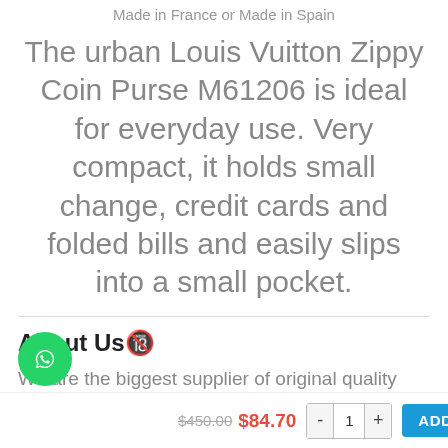Made in France or Made in Spain
The urban Louis Vuitton Zippy Coin Purse M61206 is ideal for everyday use. Very compact, it holds small change, credit cards and folded bills and easily slips into a small pocket.
About Us🔞
We are the biggest supplier of original quality Louis Vuitton handbags, shoes, clothes and all products.
retail, various design, fine handwork, original
$450.00  $84.70  -  1  +  ADD TO CART